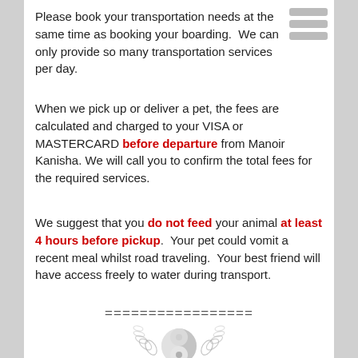Please book your transportation needs at the same time as booking your boarding.  We can only provide so many transportation services per day.
When we pick up or deliver a pet, the fees are calculated and charged to your VISA or MASTERCARD before departure from Manoir Kanisha. We will call you to confirm the total fees for the required services.
We suggest that you do not feed your animal at least 4 hours before pickup.  Your pet could vomit a recent meal whilst road traveling.  Your best friend will have access freely to water during transport.
=================
[Figure (logo): Circular logo with laurel wreath and stylized animal/yin-yang motif in grey tones]